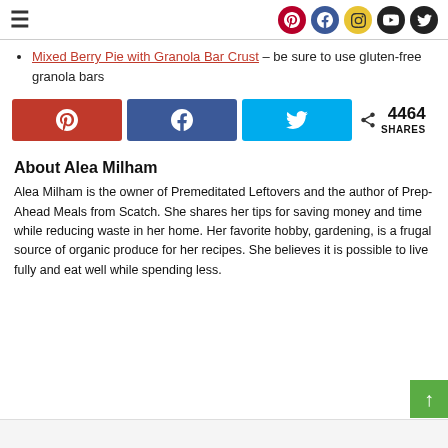≡ [social icons: Pinterest, Facebook, Instagram, YouTube, Twitter]
Mixed Berry Pie with Granola Bar Crust – be sure to use gluten-free granola bars
[Figure (infographic): Social share buttons: Pinterest (red), Facebook (dark blue), Twitter (cyan blue), and share count showing 4464 SHARES with a share icon]
About Alea Milham
Alea Milham is the owner of Premeditated Leftovers and the author of Prep-Ahead Meals from Scatch. She shares her tips for saving money and time while reducing waste in her home. Her favorite hobby, gardening, is a frugal source of organic produce for her recipes. She believes it is possible to live fully and eat well while spending less.